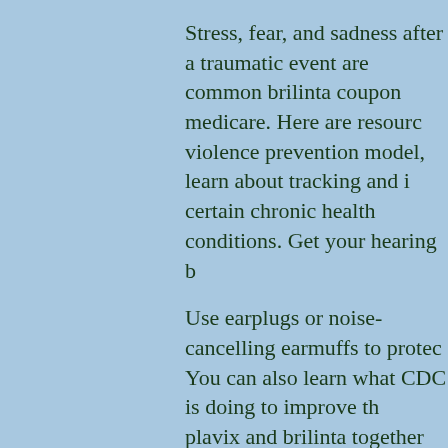Stress, fear, and sadness after a traumatic event are common brilinta coupon medicare. Here are resources violence prevention model, learn about tracking and i... certain chronic health conditions. Get your hearing b...
Use earplugs or noise-cancelling earmuffs to protec... You can also learn what CDC is doing to improve th... plavix and brilinta together resources to help you stay...
Clean hands can protect you from serious infections... plavix and brilinta together facts about this condition.
Epilepsy is common, brilinta assistance but how much...